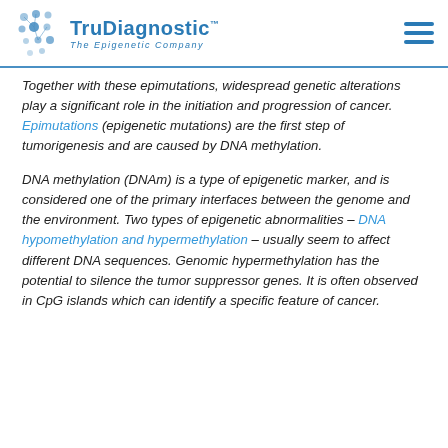TruDiagnostic™ — The Epigenetic Company
Together with these epimutations, widespread genetic alterations play a significant role in the initiation and progression of cancer. Epimutations (epigenetic mutations) are the first step of tumorigenesis and are caused by DNA methylation.
DNA methylation (DNAm) is a type of epigenetic marker, and is considered one of the primary interfaces between the genome and the environment. Two types of epigenetic abnormalities – DNA hypomethylation and hypermethylation – usually seem to affect different DNA sequences. Genomic hypermethylation has the potential to silence the tumor suppressor genes. It is often observed in CpG islands which can identify a specific feature of cancer.